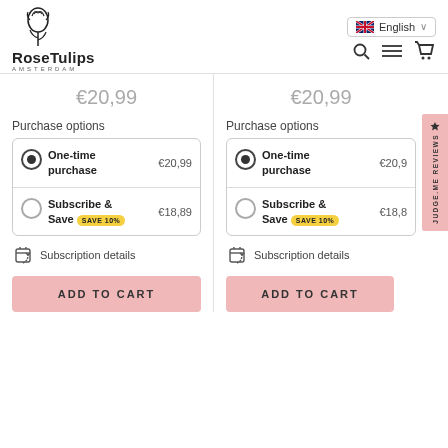RoseTulips Amsterdam | English | Search, Menu, Cart
€20,99
€20,99
Purchase options
| Option | Price |
| --- | --- |
| One-time purchase | €20,99 |
| Subscribe & Save SAVE 10% | €18,89 |
Subscription details
Purchase options
| Option | Price |
| --- | --- |
| One-time purchase | €20,99 |
| Subscribe & Save SAVE 10% | €18,89 |
Subscription details
ADD TO CART
ADD TO CART